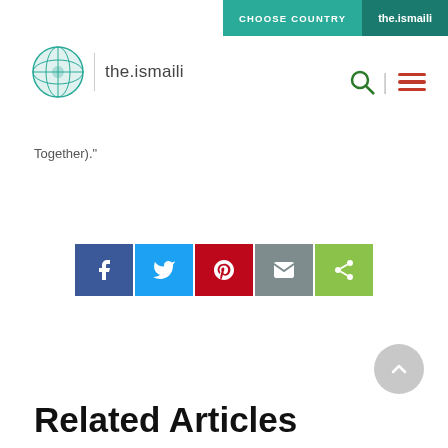CHOOSE COUNTRY | the.ismaili
[Figure (logo): the.ismaili circular logo with globe pattern, followed by vertical divider and text 'the.ismaili']
Together)."
[Figure (infographic): Social share buttons row: Facebook (blue), Twitter (light blue), Pinterest (red), Email (gray), Share (green)]
Related Articles